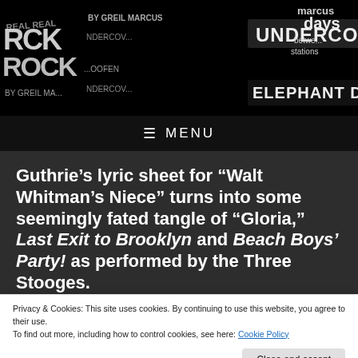[Figure (illustration): Black header banner with collaged newspaper/album text fragments including 'REAL ROCK', 'BY GREIL MARCUS', 'UNDERCOVER', 'ELEPHANT DANCING', 'days between stations', written in various fonts on a dark background.]
MENU
Guthrie's lyric sheet for “Walt Whitman's Niece” turns into some seemingly fated tangle of “Gloria,” Last Exit to Brooklyn and Beach Boys' Party! as performed by the Three Stooges.
Privacy & Cookies: This site uses cookies. By continuing to use this website, you agree to their use.
To find out more, including how to control cookies, see here: Cookie Policy
Close and accept